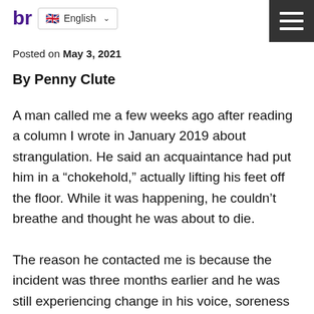br English
Posted on May 3, 2021
By Penny Clute
A man called me a few weeks ago after reading a column I wrote in January 2019 about strangulation. He said an acquaintance had put him in a “chokehold,” actually lifting his feet off the floor. While it was happening, he couldn’t breathe and thought he was about to die.
The reason he contacted me is because the incident was three months earlier and he was still experiencing change in his voice, soreness in his neck, and noticeable